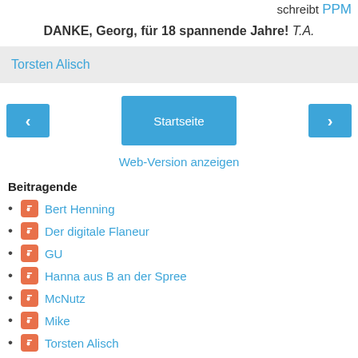schreibt PPM
DANKE, Georg, für 18 spannende Jahre! T.A.
Torsten Alisch
< Startseite > Web-Version anzeigen
Beitragende
Bert Henning
Der digitale Flaneur
GU
Hanna aus B an der Spree
McNutz
Mike
Torsten Alisch